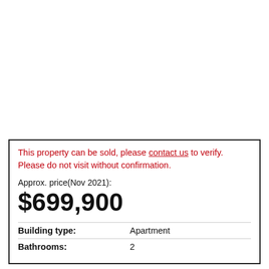This property can be sold, please contact us to verify. Please do not visit without confirmation.
Approx. price(Nov 2021):
$699,900
|  |  |
| --- | --- |
| Building type: | Apartment |
| Bathrooms: | 2 |